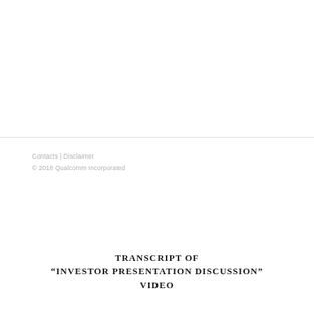Contacts | Disclaimer
© 2018 Qualcomm Incorporated
TRANSCRIPT OF
"INVESTOR PRESENTATION DISCUSSION"
VIDEO